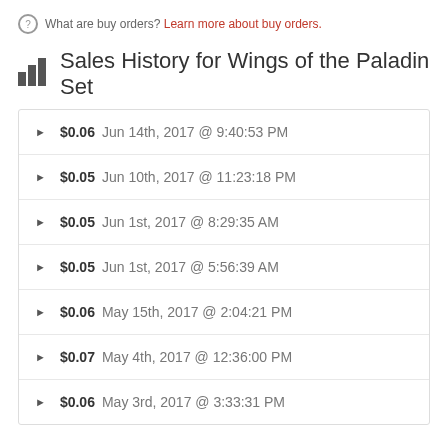What are buy orders? Learn more about buy orders.
Sales History for Wings of the Paladin Set
$0.06 Jun 14th, 2017 @ 9:40:53 PM
$0.05 Jun 10th, 2017 @ 11:23:18 PM
$0.05 Jun 1st, 2017 @ 8:29:35 AM
$0.05 Jun 1st, 2017 @ 5:56:39 AM
$0.06 May 15th, 2017 @ 2:04:21 PM
$0.07 May 4th, 2017 @ 12:36:00 PM
$0.06 May 3rd, 2017 @ 3:33:31 PM